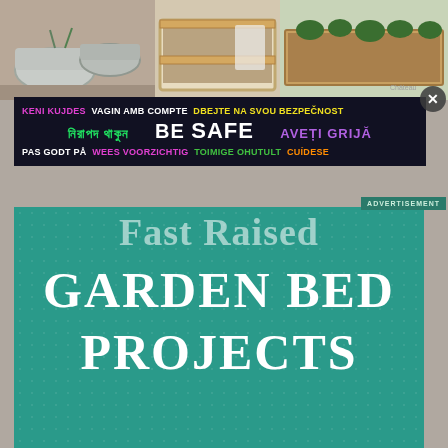[Figure (photo): Top strip collage of garden bed photos: galvanized metal containers, wood raised beds, green leafy plants.]
[Figure (infographic): Safety advertisement overlay with multilingual 'BE SAFE' text in colorful fonts on dark background. Languages include Catalan, Czech, Bengali, English, French/Dutch, Finnish, Spanish.]
ADVERTISEMENT
Fast Raised GARDEN BED PROJECTS
[Figure (photo): Outdoor patio area with galvanized steel raised garden beds/water troughs with young green plants, green mushroom stool, wooden fence and bench in background, dark bowl planter on right.]